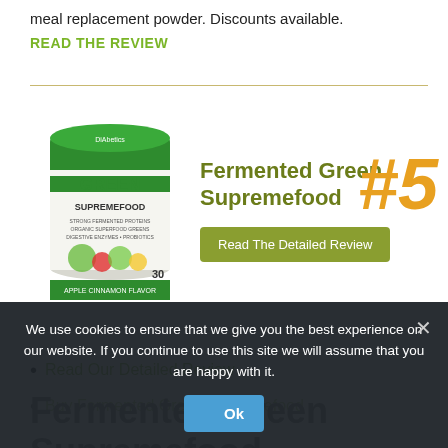meal replacement powder. Discounts available.
READ THE REVIEW
[Figure (photo): Fermented Green Supremefood product container with green label, apple cinnamon flavor, 30 servings]
Fermented Green Supremefood
#5
Read The Detailed Review
Read Our Detailed Review
Buy Fermented Green Supremefood
Fermented Green Supremefood
We use cookies to ensure that we give you the best experience on our website. If you continue to use this site we will assume that you are happy with it.
Ok